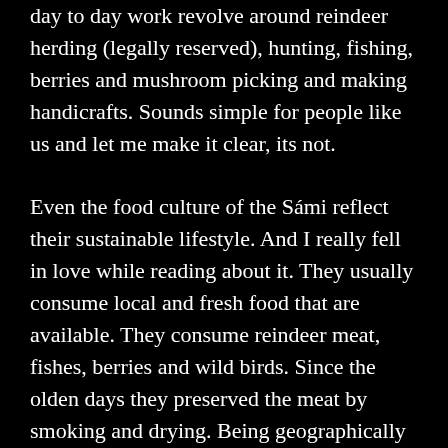day to day work revolve around reindeer herding (legally reserved), hunting, fishing, berries and mushroom picking and making handicrafts. Sounds simple for people like us and let me make it clear, its not.

Even the food culture of the Sámi reflect their sustainable lifestyle. And I really fell in love while reading about it. They usually consume local and fresh food that are available. They consume reindeer meat, fishes, berries and wild birds. Since the olden days they preserved the meat by smoking and drying. Being geographically situated in the coldest corner their food are defined purposefully to the nutrition